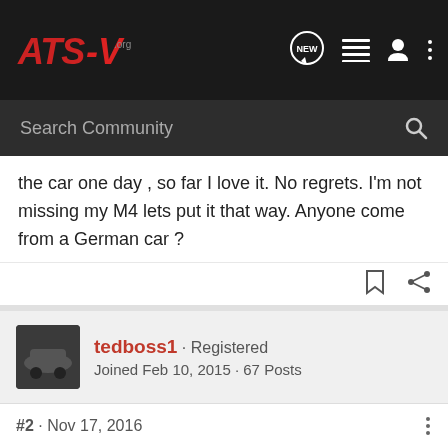ATS-V.org — Search Community
the car one day , so far I love it. No regrets. I'm not missing my M4 lets put it that way. Anyone come from a German car ?
tedboss1 · Registered
Joined Feb 10, 2015 · 67 Posts
#2 · Nov 17, 2016
Once I had BMW 540i. It was pleasure to drive but it was in the garage at least once per month to fix various problems.